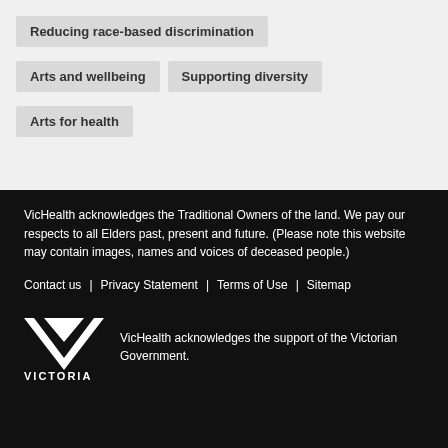Reducing race-based discrimination
Arts and wellbeing
Supporting diversity
Arts for health
VicHealth acknowledges the Traditional Owners of the land. We pay our respects to all Elders past, present and future. (Please note this website may contain images, names and voices of deceased people.)
Contact us | Privacy Statement | Terms of Use | Sitemap
VicHealth acknowledges the support of the Victorian Government.